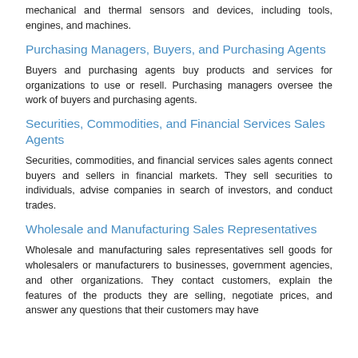mechanical and thermal sensors and devices, including tools, engines, and machines.
Purchasing Managers, Buyers, and Purchasing Agents
Buyers and purchasing agents buy products and services for organizations to use or resell. Purchasing managers oversee the work of buyers and purchasing agents.
Securities, Commodities, and Financial Services Sales Agents
Securities, commodities, and financial services sales agents connect buyers and sellers in financial markets. They sell securities to individuals, advise companies in search of investors, and conduct trades.
Wholesale and Manufacturing Sales Representatives
Wholesale and manufacturing sales representatives sell goods for wholesalers or manufacturers to businesses, government agencies, and other organizations. They contact customers, explain the features of the products they are selling, negotiate prices, and answer any questions that their customers may have